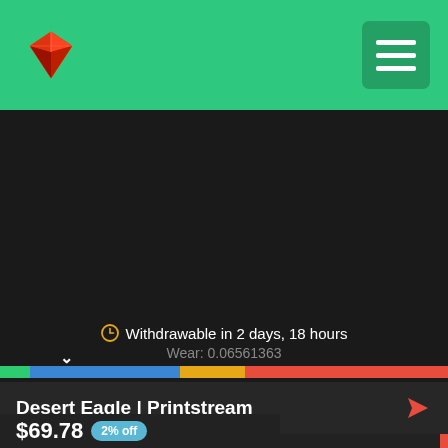[Figure (logo): Red diamond/gem shaped logo (triangular faceted shape) on teal/green header background]
[Figure (screenshot): Dark area showing item preview background, mostly dark/black]
Withdrawable in 2 days, 18 hours
Wear: 0.06561363
[Figure (infographic): Wear bar showing condition: green section on left, blue section, orange-yellow section, and red section on right. Arrow/chevron marker near left indicating current wear position.]
Desert Eagle | Printstream
Minimal Wear / Covert Pistol / 285
$69.78  2% off